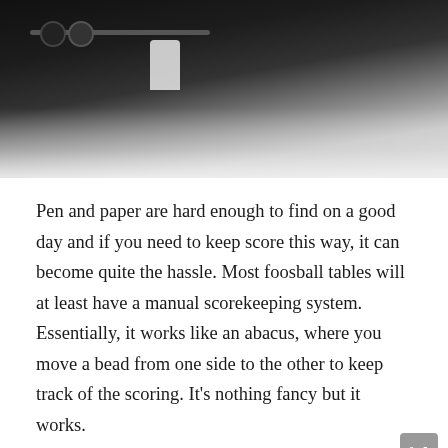[Figure (photo): Close-up photo of foosball table rods with black and white player figures/beads on a dark background with a light-colored table surface visible.]
Pen and paper are hard enough to find on a good day and if you need to keep score this way, it can become quite the hassle. Most foosball tables will at least have a manual scorekeeping system. Essentially, it works like an abacus, where you move a bead from one side to the other to keep track of the scoring. It's nothing fancy but it works.
Electronic
If you want a bit more action when playing foosball,